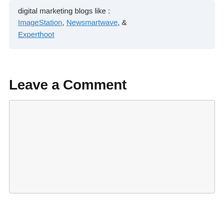digital marketing blogs like : ImageStation, Newsmartwave, & Experthoot
Leave a Comment
[Figure (other): Empty comment text area input box with light gray background and border]